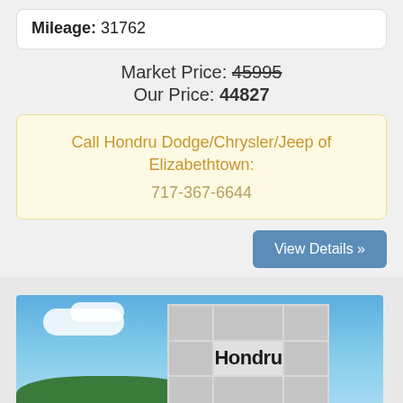Mileage: 31762
Market Price: 45995
Our Price: 44827
Call Hondru Dodge/Chrysler/Jeep of Elizabethtown:
717-367-6644
View Details »
[Figure (photo): Exterior photo of Hondru dealership building with a sign reading 'Hondru', blue sky and trees in background]